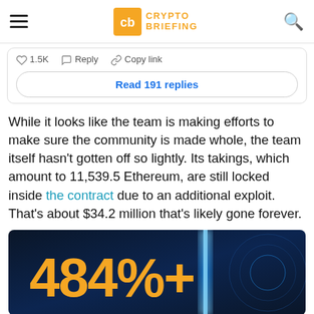Crypto Briefing
1.5K  Reply  Copy link
Read 191 replies
While it looks like the team is making efforts to make sure the community is made whole, the team itself hasn't gotten off so lightly. Its takings, which amount to 11,539.5 Ethereum, are still locked inside the contract due to an additional exploit. That's about $34.2 million that's likely gone forever.
[Figure (infographic): Dark blue tech-themed advertisement banner showing '484%+' in large gold/orange text with glowing blue vertical light beam and circular tech patterns on the right side]